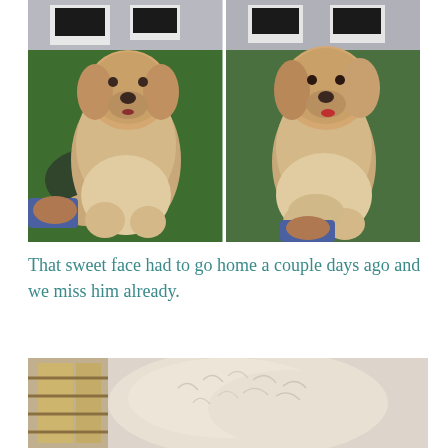[Figure (photo): Two side-by-side photos of a fluffy golden doodle dog standing on green artificial grass. In both photos a person's hand is shaking/holding the dog's paw. Left photo shows dog looking slightly down, right photo shows dog looking forward with tongue slightly out. Background shows black and white furniture.]
That sweet face had to go home a couple days ago and we miss him already.
[Figure (photo): Partial photo showing a close-up of fluffy white/cream fur of a dog, with a blurred background including what appears to be a window or light source on the left side.]